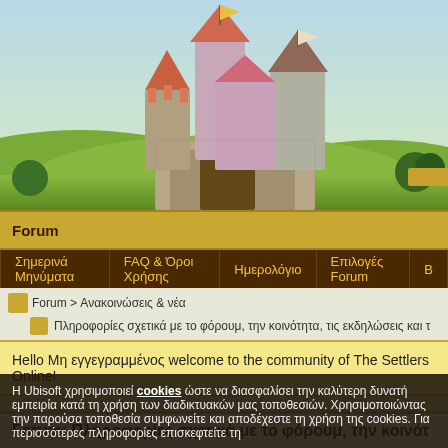[Figure (illustration): Fantasy castle illustration with green hills and sky background, game artwork for The Settlers Online]
Forum
Σημερινά Μηνύματα | FAQ & Όροι Χρήσης | Ημερολόγιο | Επιλογές Forum | B
Forum > Ανακοινώσεις & νέα
Πληροφορίες σχετικά με το φόρουμ, την κοινότητα, τις εκδηλώσεις και τ
Hello Μη εγγεγραμμένος welcome to the community of The Settlers Online!
Forum: Πληροφορίες σχετικά με το φόρουμ, την κοινότ
Η Ubisoft χρησιμοποιεί cookies ώστε να διασφαλίσει την καλύτερη δυνατή εμπειρία κατά τη χρήση των διαδικτυακών μας τοποθεσιών. Χρησιμοποιώντας την παρούσα τοποθεσία συμφωνείτε και αποδέχεστε τη χρήση της cookies. Για περισσότερες πληροφορίες επισκεφτείτε τη